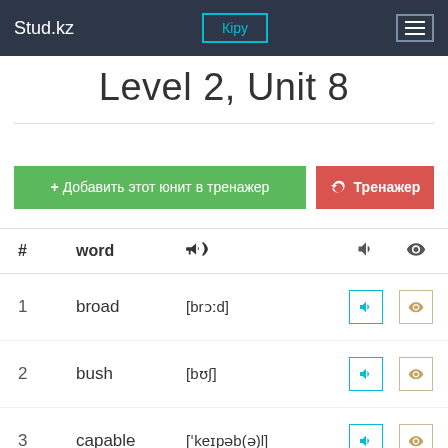Stud.kz | Кіру | menu
Level 2, Unit 8
+ Добавить этот юнит в тренажер | Тренажер
| # | word | 🔊(megaphone) | 🔊 | 👁 |
| --- | --- | --- | --- | --- |
| 1 | broad | [brɔːd] | 🔊 | 👁 |
| 2 | bush | [bʊʃ] | 🔊 | 👁 |
| 3 | capable | [ˈkeɪpəb(ə)l] | 🔊 | 👁 |
| 4 | cheat | [tʃiːt] | 🔊 | 👁 |